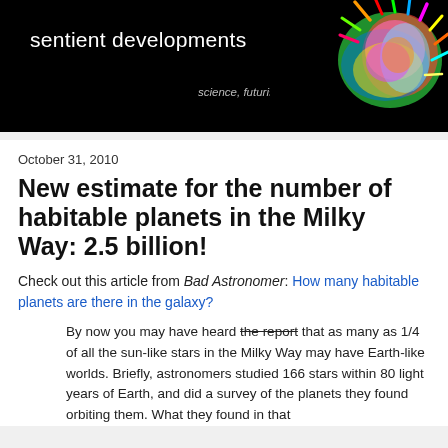sentient developments — science, futurism, life
October 31, 2010
New estimate for the number of habitable planets in the Milky Way: 2.5 billion!
Check out this article from Bad Astronomer: How many habitable planets are there in the galaxy?
By now you may have heard the report that as many as 1/4 of all the sun-like stars in the Milky Way may have Earth-like worlds. Briefly, astronomers studied 166 stars within 80 light years of Earth, and did a survey of the planets they found orbiting them. What they found in that